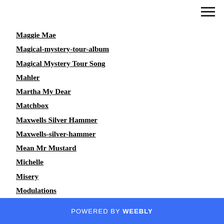Maggie Mae
Magical-mystery-tour-album
Magical Mystery Tour Song
Mahler
Martha My Dear
Matchbox
Maxwells Silver Hammer
Maxwells-silver-hammer
Mean Mr Mustard
Michelle
Misery
Modulations
Money Thats What I Want
Moog Synthesizer
Mother Nature Son
POWERED BY weebly